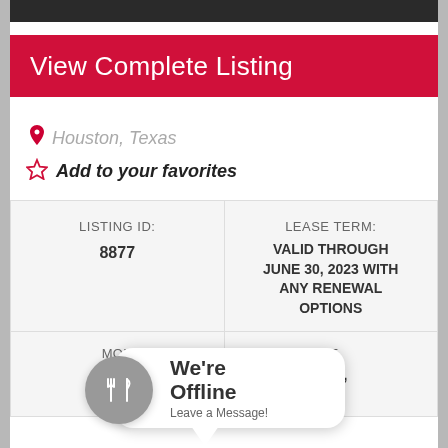[Figure (screenshot): Dark top bar portion of a webpage screenshot]
View Complete Listing
Houston, Texas
Add to your favorites
| LISTING ID: | LEASE TERM: |
| --- | --- |
| 8877 | VALID THROUGH JUNE 30, 2023 WITH ANY RENEWAL OPTIONS |
MON... FT.
$... 50,
[Figure (infographic): Chat widget overlay showing 'We're Offline - Leave a Message!' with a restaurant/food icon (fork and knife in a circle)]